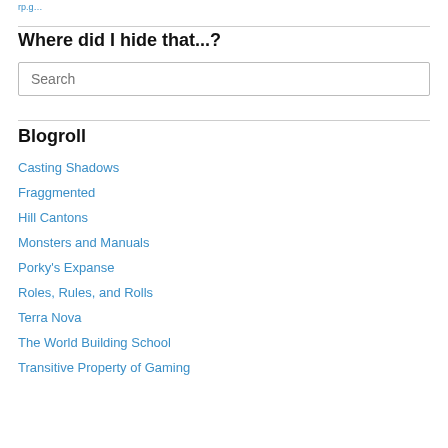…rp.g…
Where did I hide that...?
Search
Blogroll
Casting Shadows
Fraggmented
Hill Cantons
Monsters and Manuals
Porky's Expanse
Roles, Rules, and Rolls
Terra Nova
The World Building School
Transitive Property of Gaming